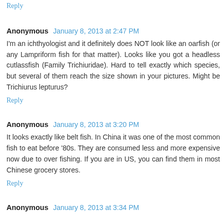Reply
Anonymous  January 8, 2013 at 2:47 PM
I'm an ichthyologist and it definitely does NOT look like an oarfish (or any Lampriform fish for that matter). Looks like you got a headless cutlassfish (Family Trichiuridae). Hard to tell exactly which species, but several of them reach the size shown in your pictures. Might be Trichiurus lepturus?
Reply
Anonymous  January 8, 2013 at 3:20 PM
It looks exactly like belt fish. In China it was one of the most common fish to eat before '80s. They are consumed less and more expensive now due to over fishing. If you are in US, you can find them in most Chinese grocery stores.
Reply
Anonymous  January 8, 2013 at 3:34 PM